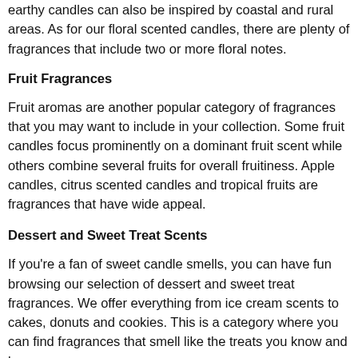earthy candles can also be inspired by coastal and rural areas. As for our floral scented candles, there are plenty of fragrances that include two or more floral notes.
Fruit Fragrances
Fruit aromas are another popular category of fragrances that you may want to include in your collection. Some fruit candles focus prominently on a dominant fruit scent while others combine several fruits for overall fruitiness. Apple candles, citrus scented candles and tropical fruits are fragrances that have wide appeal.
Dessert and Sweet Treat Scents
If you’re a fan of sweet candle smells, you can have fun browsing our selection of dessert and sweet treat fragrances. We offer everything from ice cream scents to cakes, donuts and cookies. This is a category where you can find fragrances that smell like the treats you know and love.